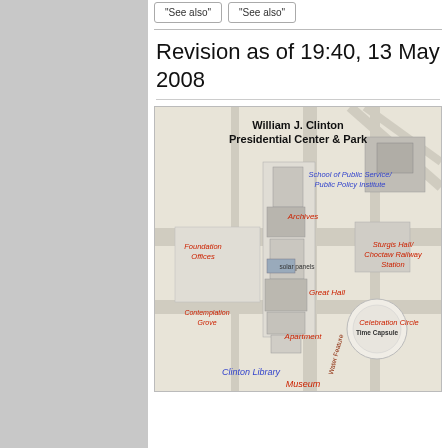"See also"
"See also"
Revision as of 19:40, 13 May 2008
[Figure (map): Aerial map of William J. Clinton Presidential Center & Park with labeled buildings: School of Public Service/Public Policy Institute, Archives, Foundation Offices, Sturgis Hall/Choctaw Railway Station, solar panels, Great Hall, Contemplation Grove, Apartment, Water Feature, Celebration Circle Time Capsule, Clinton Library, Museum]